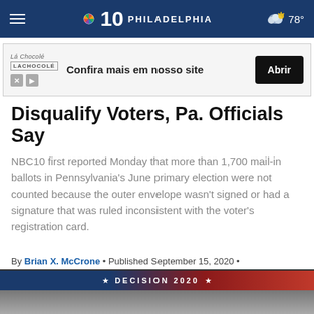NBC 10 PHILADELPHIA  78°
[Figure (screenshot): Advertisement banner for La Chocolé: 'Confia mais em nosso site' with Abrir button]
Disqualify Voters, Pa. Officials Say
NBC10 first reported Monday that more than 1,700 mail-in ballots in Pennsylvania's June primary election were not counted because the outer envelope wasn't signed or had a signature that was ruled inconsistent with the voter's registration card.
By Brian X. McCrone • Published September 15, 2020 • Updated on October 6, 2020 at 9:41 am
[Figure (screenshot): Social share buttons: Facebook, Twitter, Email]